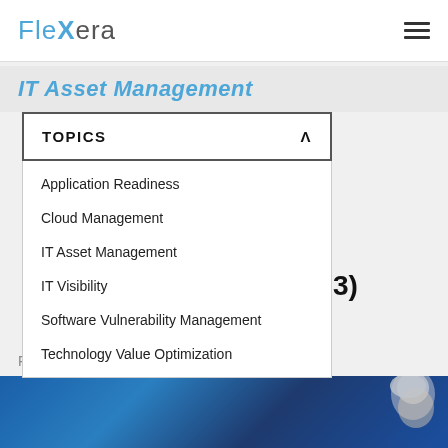Flexera
IT Asset Management
TOPICS
Application Readiness
Cloud Management
IT Asset Management
IT Visibility
Software Vulnerability Management
Technology Value Optimization
Client (3 of 3)
Flexera
January 23, 2015
[Figure (photo): Blue abstract background with a woman with grey hair, partial view]